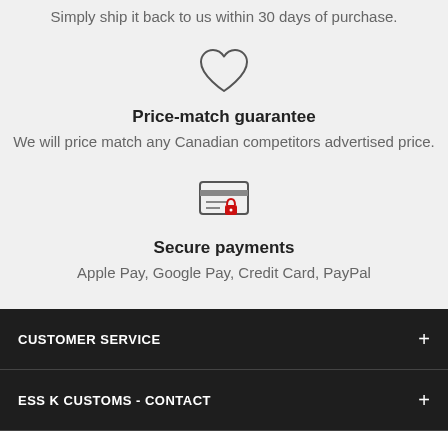Simply ship it back to us within 30 days of purchase.
[Figure (illustration): Heart outline icon with a small red dash at top right]
Price-match guarantee
We will price match any Canadian competitors advertised price.
[Figure (illustration): Credit card with a red lock icon overlay — secure payments icon]
Secure payments
Apple Pay, Google Pay, Credit Card, PayPal
CUSTOMER SERVICE +
ESS K CUSTOMS - CONTACT +